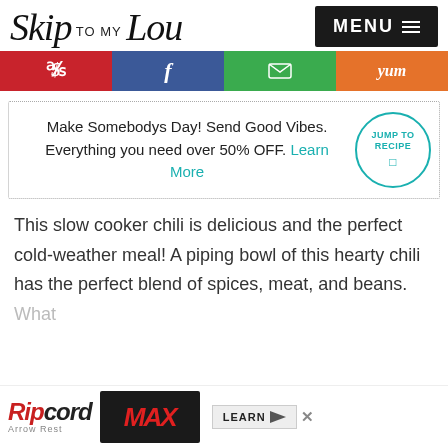Skip to my Lou — MENU
[Figure (infographic): Social share buttons: Pinterest (red), Facebook (blue), Email (green), Yummly (orange)]
Make Somebodys Day! Send Good Vibes. Everything you need over 50% OFF. Learn More — JUMP TO RECIPE
This slow cooker chili is delicious and the perfect cold-weather meal! A piping bowl of this hearty chili has the perfect blend of spices, meat, and beans.
What
[Figure (other): Ripcord Arrow Rest advertisement banner with product image and MAX branding. Learn button and close button visible.]